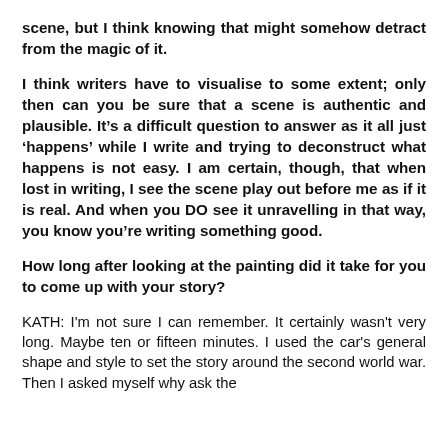scene, but I think knowing that might somehow detract from the magic of it.
I think writers have to visualise to some extent; only then can you be sure that a scene is authentic and plausible. It’s a difficult question to answer as it all just ‘happens’ while I write and trying to deconstruct what happens is not easy. I am certain, though, that when lost in writing, I see the scene play out before me as if it is real. And when you DO see it unravelling in that way, you know you’re writing something good.
How long after looking at the painting did it take for you to come up with your story?
KATH: I’m not sure I can remember. It certainly wasn’t very long. Maybe ten or fifteen minutes. I used the car’s general shape and style to set the story around the second world war. Then I asked myself why ask the